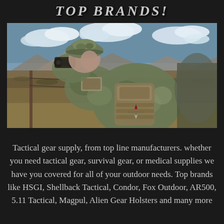TOP BRANDS!
[Figure (photo): Soldier in camouflage gear and hat looking through binoculars over a desert landscape with mountains in background. Tactical backpack with compass patch visible.]
Tactical gear supply, from top line manufacturers. whether you need tactical gear, survival gear, or medical supplies we have you covered for all of your outdoor needs. Top brands like HSGI, Shellback Tactical, Condor, Fox Outdoor, AR500, 5.11 Tactical, Magpul, Alien Gear Holsters and many more